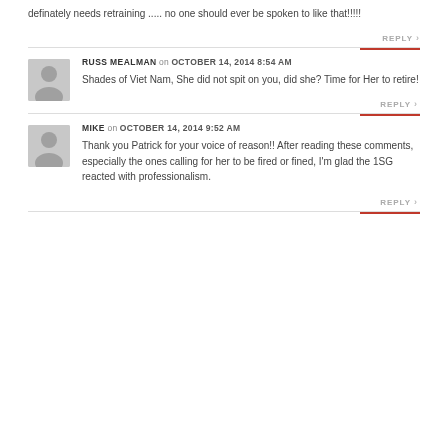definately needs retraining ..... no one should ever be spoken to like that!!!!!
REPLY
RUSS MEALMAN on OCTOBER 14, 2014 8:54 AM
Shades of Viet Nam, She did not spit on you, did she? Time for Her to retire!
REPLY
MIKE on OCTOBER 14, 2014 9:52 AM
Thank you Patrick for your voice of reason!! After reading these comments, especially the ones calling for her to be fired or fined, I'm glad the 1SG reacted with professionalism.
REPLY